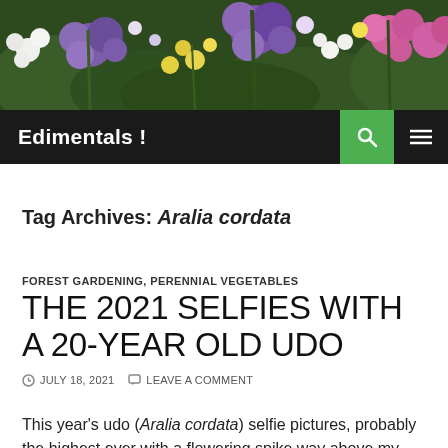[Figure (photo): Colorful flowers photo banner — purple, white, yellow blooms with green foliage]
Edimentals !
Tag Archives: Aralia cordata
FOREST GARDENING, PERENNIAL VEGETABLES
THE 2021 SELFIES WITH A 20-YEAR OLD UDO
JULY 18, 2021   LEAVE A COMMENT
This year's udo (Aralia cordata) selfie pictures, probably the highest ever with a flowering spike way above my head. I